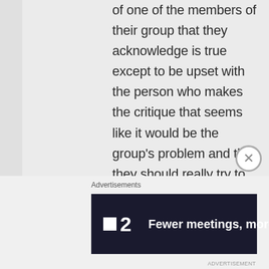of one of the members of their group that they acknowledge is true except to be upset with the person who makes the critique that seems like it would be the group's problem and that they should really try to get over it.

And once again, my
Advertisements
[Figure (other): Dark navy advertisement banner for a product called '2' (P2) with logo box icon and slogan 'Fewer meetings, more work.' in bold white text on dark background.]